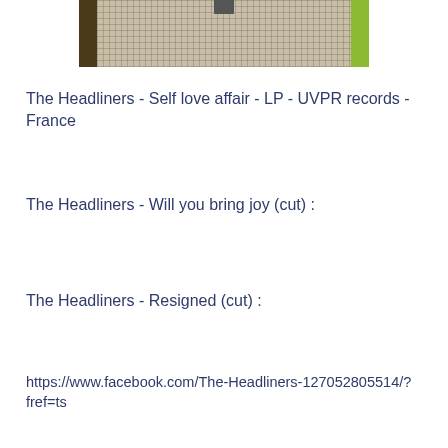[Figure (photo): Partial photo showing a mesh/wicker textured surface with dark wooden frame on left and green bar on right, top portion only visible]
The Headliners - Self love affair - LP - UVPR records - France
The Headliners - Will you bring joy (cut) :
The Headliners - Resigned (cut) :
https://www.facebook.com/The-Headliners-127052805514/?fref=ts